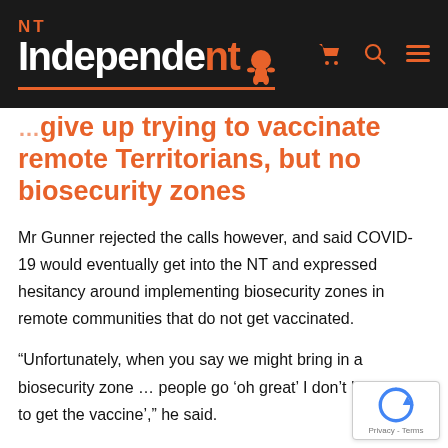NT Independent
give up trying to vaccinate remote Territorians, but no biosecurity zones
Mr Gunner rejected the calls however, and said COVID-19 would eventually get into the NT and expressed hesitancy around implementing biosecurity zones in remote communities that do not get vaccinated.
“Unfortunately, when you say we might bring in a biosecurity zone … people go ‘oh great’ I don’t have to get the vaccine’,” he said.
“I think what the Health Minister has been saying